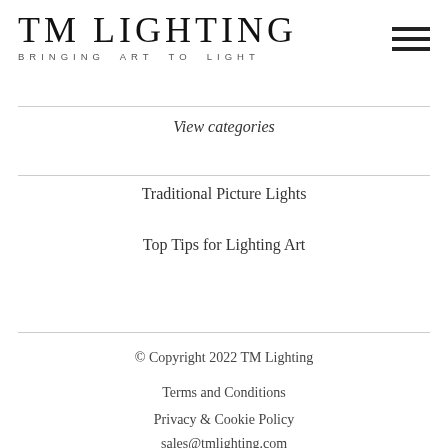[Figure (logo): TM Lighting logo with tagline 'BRINGING ART TO LIGHT' and hamburger menu icon]
View categories
Traditional Picture Lights
Top Tips for Lighting Art
© Copyright 2022 TM Lighting
Terms and Conditions
Privacy & Cookie Policy
sales@tmlighting.com